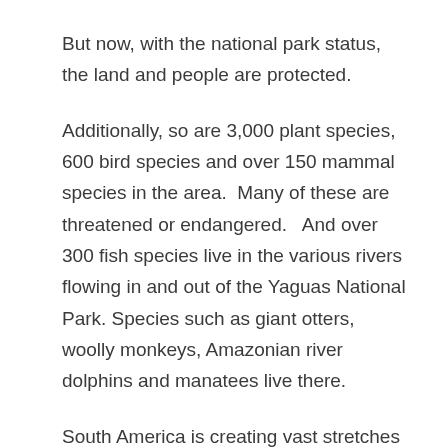But now, with the national park status, the land and people are protected.
Additionally, so are 3,000 plant species, 600 bird species and over 150 mammal species in the area.  Many of these are threatened or endangered.   And over 300 fish species live in the various rivers flowing in and out of the Yaguas National Park. Species such as giant otters, woolly monkeys, Amazonian river dolphins and manatees live there.
South America is creating vast stretches of protected wilderness, so hopefully they are signs of both people and governments showing how important these regions of wilderness are, both for animal and human wellbeing.